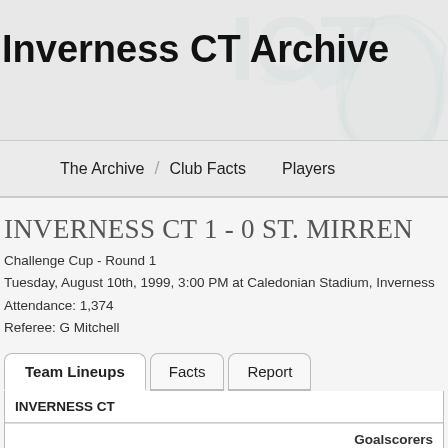Inverness CT Archive
The Archive | Club Facts | Players
Inverness CT 1 - 0 St. Mirren
Challenge Cup - Round 1
Tuesday, August 10th, 1999, 3:00 PM at Caledonian Stadium, Inverness
Attendance: 1,374
Referee: G Mitchell
Team Lineups | Facts | Report
| INVERNESS CT | Goalscorers |
| --- | --- |